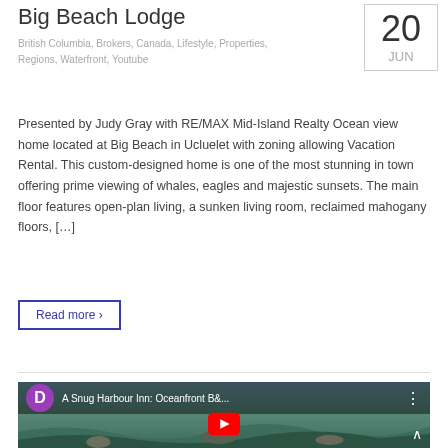Big Beach Lodge
British Columbia, Brokers, Canada, Lifestyle, Properties, Regions, Waterfront, Youtube
20 JUN
Presented by Judy Gray with RE/MAX Mid-Island Realty Ocean view home located at Big Beach in Ucluelet with zoning allowing Vacation Rental. This custom-designed home is one of the most stunning in town offering prime viewing of whales, eagles and majestic sunsets. The main floor features open-plan living, a sunken living room, reclaimed mahogany floors, […]
Read more ›
[Figure (screenshot): YouTube video thumbnail showing 'A Snug Harbour Inn: Oceanfront B&...' with a purple D avatar, ocean and rocky shoreline background, and a YouTube play button overlay]